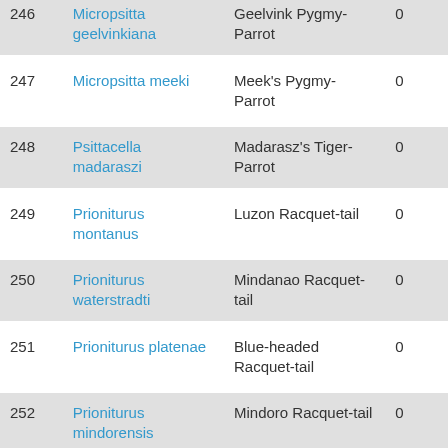| # | Scientific Name | Common Name | Count |
| --- | --- | --- | --- |
| 246 | Micropsitta geelvinkiana | Geelvink Pygmy-Parrot | 0 |
| 247 | Micropsitta meeki | Meek's Pygmy-Parrot | 0 |
| 248 | Psittacella madaraszi | Madarasz's Tiger-Parrot | 0 |
| 249 | Prioniturus montanus | Luzon Racquet-tail | 0 |
| 250 | Prioniturus waterstradti | Mindanao Racquet-tail | 0 |
| 251 | Prioniturus platenae | Blue-headed Racquet-tail | 0 |
| 252 | Prioniturus mindorensis | Mindoro Racquet-tail | 0 |